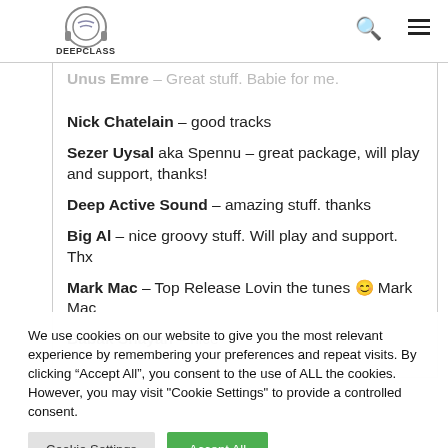DeepClass [logo with search and menu icons]
Unus Emre – Great stuff. Babie for me.
Nick Chatelain – good tracks
Sezer Uysal aka Spennu – great package, will play and support, thanks!
Deep Active Sound – amazing stuff. thanks
Big Al – nice groovy stuff. Will play and support. Thx
Mark Mac – Top Release Lovin the tunes 😊 Mark Mac
Babak Shayan – nice
We use cookies on our website to give you the most relevant experience by remembering your preferences and repeat visits. By clicking "Accept All", you consent to the use of ALL the cookies. However, you may visit "Cookie Settings" to provide a controlled consent.